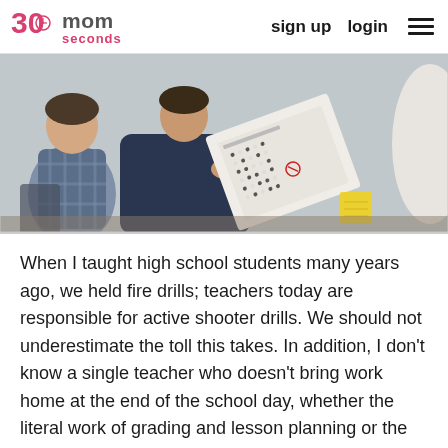30 seconds mom | sign up | login
[Figure (photo): Two or more people in a classroom or meeting setting, one person holding and reviewing a paper with bubble-sheet answers (scantron), with a yellow sticky note visible on a desk.]
When I taught high school students many years ago, we held fire drills; teachers today are responsible for active shooter drills. We should not underestimate the toll this takes. In addition, I don't know a single teacher who doesn't bring work home at the end of the school day, whether the literal work of grading and lesson planning or the mental work of thinking and worrying about the kids who need them most. This work continues through their vacations, when teachers spend at least part of their off-contract time creating